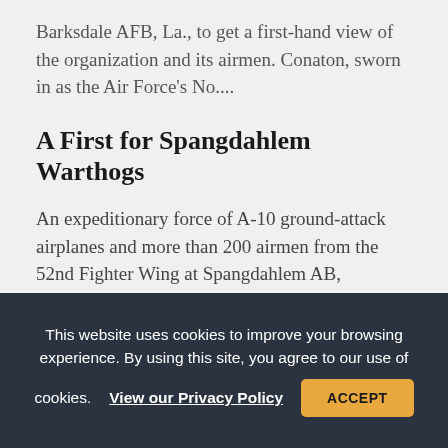Barksdale AFB, La., to get a first-hand view of the organization and its airmen. Conaton, sworn in as the Air Force's No....
A First for Spangdahlem Warthogs
An expeditionary force of A-10 ground-attack airplanes and more than 200 airmen from the 52nd Fighter Wing at Spangdahlem AB, Germany, has arrived at Kandahar Airfield, Afghanistan, for a four-month deployment. These A-10s, now dubbed the 81st Expeditionary Fighter Squadron,...
This website uses cookies to improve your browsing experience. By using this site, you agree to our use of cookies. View our Privacy Policy ACCEPT